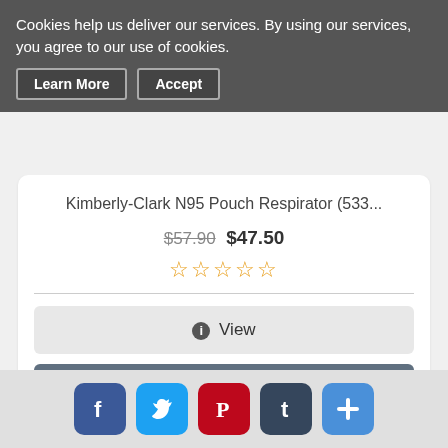Cookies help us deliver our services. By using our services, you agree to our use of cookies.
Learn More
Accept
Kimberly-Clark N95 Pouch Respirator (533...
$57.90 $47.50
[Figure (other): Five empty star rating icons in yellow/orange outline]
[Figure (other): View button with info icon]
[Figure (other): Add to Cart button with cart icon]
[Figure (photo): Two black face masks stacked vertically]
[Figure (other): Social share bar with Facebook, Twitter, Pinterest, Tumblr, and Plus icons]